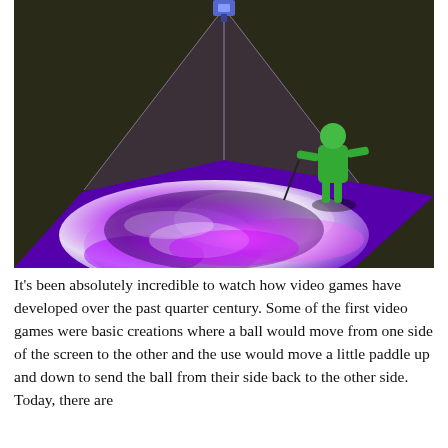[Figure (illustration): A 3D rendered illustration showing a projector or camera device at the top center emitting purple/violet light beams downward onto a flat surface. The surface displays a swirling purple and white abstract pattern resembling a hurricane or vortex. A green humanoid figure stands on the right side of the illuminated surface. The background is dark olive/black.]
It’s been absolutely incredible to watch how video games have developed over the past quarter century. Some of the first video games were basic creations where a ball would move from one side of the screen to the other and the use would move a little paddle up and down to send the ball from their side back to the other side. Today, there are